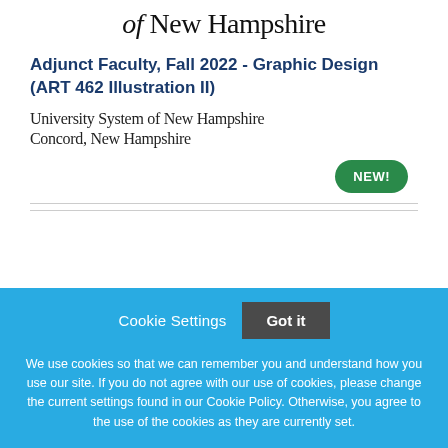of New Hampshire
Adjunct Faculty, Fall 2022 - Graphic Design (ART 462 Illustration II)
University System of New Hampshire
Concord, New Hampshire
[Figure (other): Green rounded badge/button with white bold text reading NEW!]
Cookie Settings   Got it
We use cookies so that we can remember you and understand how you use our site. If you do not agree with our use of cookies, please change the current settings found in our Cookie Policy. Otherwise, you agree to the use of the cookies as they are currently set.